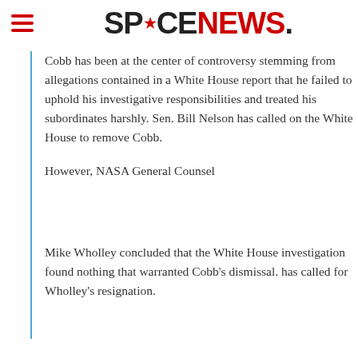SPACENEWS.
Cobb has been at the center of controversy stemming from allegations contained in a White House report that he failed to uphold his investigative responsibilities and treated his subordinates harshly. Sen. Bill Nelson has called on the White House to remove Cobb.
However, NASA General Counsel
Mike Wholley concluded that the White House investigation found nothing that warranted Cobb's dismissal. has called for Wholley's resignation.